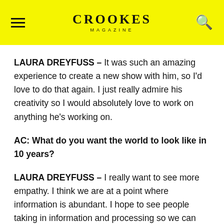CROOKES MAGAZINE
LAURA DREYFUSS – It was such an amazing experience to create a new show with him, so I'd love to do that again. I just really admire his creativity so I would absolutely love to work on anything he's working on.
AC: What do you want the world to look like in 10 years?
LAURA DREYFUSS – I really want to see more empathy. I think we are at a point where information is abundant. I hope to see people taking in information and processing so we can understand one another better. I want to live in a world where not